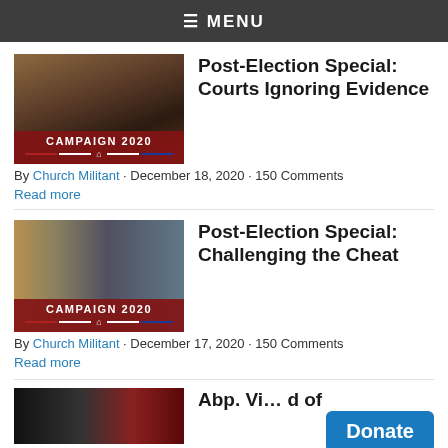≡ MENU
[Figure (photo): Campaign 2020 thumbnail with gavel and American flag motif, courthouse setting]
Post-Election Special: Courts Ignoring Evidence
By Church Militant · December 18, 2020 · 150 Comments
Read more
[Figure (photo): Campaign 2020 thumbnail with Trump and Biden side-by-side photos]
Post-Election Special: Challenging the Cheat
By Church Militant · December 17, 2020 · 150 Comments
Read more
[Figure (photo): Partially visible thumbnail for third article]
Abp. Vi… d of